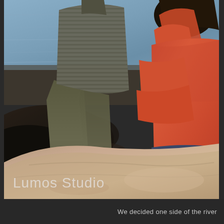[Figure (photo): A couple sitting together on large rocks near a river or body of water. The man wears a striped olive/khaki shirt and olive pants; the woman wears a coral/orange long-sleeve top and jeans. They appear to be embracing or leaning close together. The background shows water and dark rocks. A watermark reading 'Lumos Studio' appears in the lower-left of the image in light gray text.]
We decided one side of the river